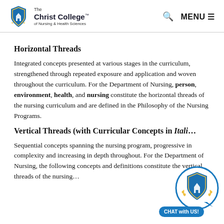The Christ College of Nursing & Health Sciences — MENU
Horizontal Threads
Integrated concepts presented at various stages in the curriculum, strengthened through repeated exposure and application and woven throughout the curriculum. For the Department of Nursing, person, environment, health, and nursing constitute the horizontal threads of the nursing curriculum and are defined in the Philosophy of the Nursing Programs.
Vertical Threads (with Curricular Concepts in Italics)
Sequential concepts spanning the nursing program, progressive in complexity and increasing in depth throughout. For the Department of Nursing, the following concepts and definitions constitute the vertical threads of the nursing...
[Figure (logo): Chat widget with Christ College shield logo and 'CHAT with US!' button]